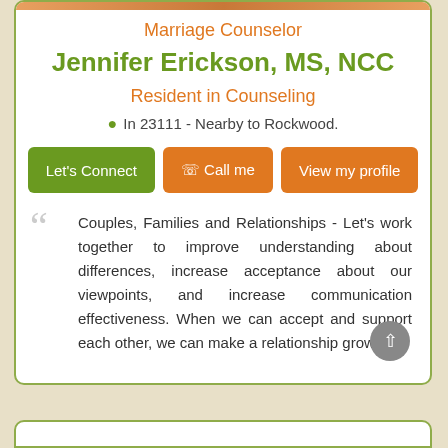Marriage Counselor
Jennifer Erickson, MS, NCC
Resident in Counseling
In 23111 - Nearby to Rockwood.
Let's Connect  Call me  View my profile
Couples, Families and Relationships - Let's work together to improve understanding about differences, increase acceptance about our viewpoints, and increase communication effectiveness. When we can accept and support each other, we can make a relationship grow.